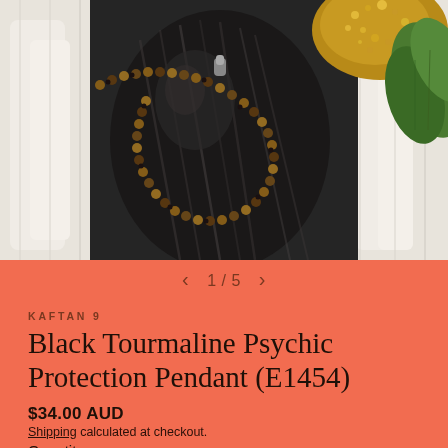[Figure (photo): Close-up product photo of a Black Tourmaline pendant on a beaded necklace with tiger eye beads, displayed on white selenite towers with a golden druse stone and green leaves in background]
1 / 5
KAFTAN 9
Black Tourmaline Psychic Protection Pendant (E1454)
$34.00 AUD
Shipping calculated at checkout.
Quantity